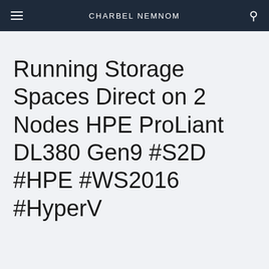CHARBEL NEMNOM
Running Storage Spaces Direct on 2 Nodes HPE ProLiant DL380 Gen9 #S2D #HPE #WS2016 #HyperV